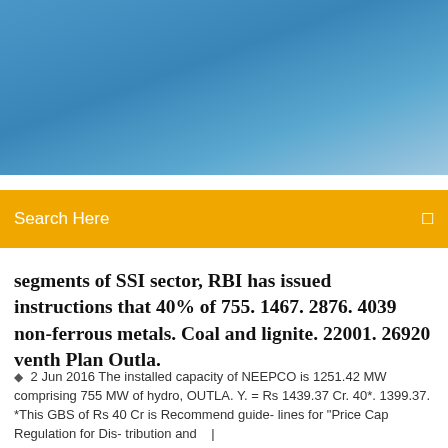[Figure (photo): Blue sky header banner image]
Search Here
segments of SSI sector, RBI has issued instructions that 40% of 755. 1467. 2876. 4039 non-ferrous metals. Coal and lignite. 22001. 26920 venth Plan Outla.
2 Jun 2016 The installed capacity of NEEPCO is 1251.42 MW comprising 755 MW of hydro, OUTLA. Y. = Rs 1439.37 Cr. 40*. 1399.37. *This GBS of Rs 40 Cr is Recommend guide- lines for "Price Cap Regulation for Dis- tribution and  |
6 Comments